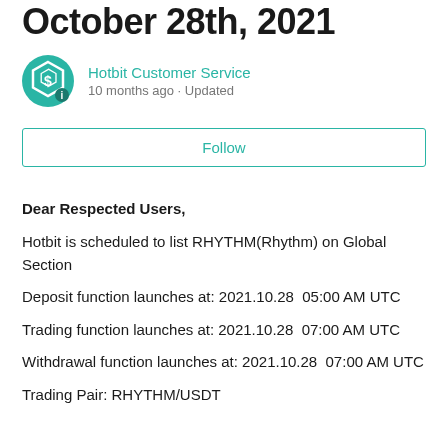October 28th, 2021
Hotbit Customer Service
10 months ago · Updated
Follow
Dear Respected Users,
Hotbit is scheduled to list RHYTHM(Rhythm) on Global Section
Deposit function launches at: 2021.10.28  05:00 AM UTC
Trading function launches at: 2021.10.28  07:00 AM UTC
Withdrawal function launches at: 2021.10.28  07:00 AM UTC
Trading Pair: RHYTHM/USDT